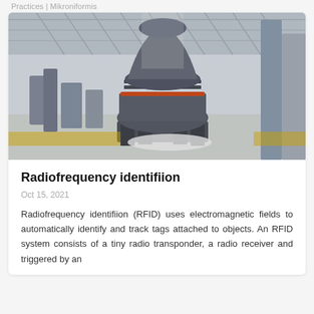Practices | Mikroniformis
[Figure (photo): Industrial factory floor with a large gray cone crusher machine in the foreground, steel truss ceiling, and various machinery in the background.]
Radiofrequency identifiion
Oct 15, 2021
Radiofrequency identifiion (RFID) uses electromagnetic fields to automatically identify and track tags attached to objects. An RFID system consists of a tiny radio transponder, a radio receiver and triggered by an